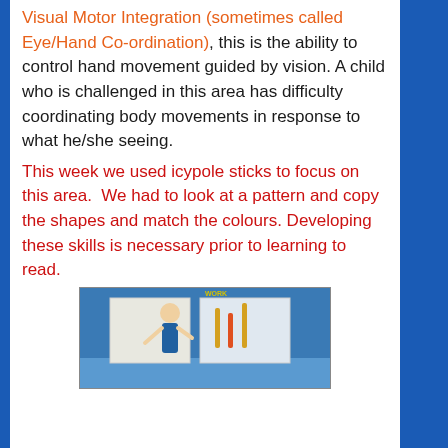Visual Motor Integration (sometimes called Eye/Hand Co-ordination), this is the ability to control hand movement guided by vision. A child who is challenged in this area has difficulty coordinating body movements in response to what he/she seeing.
This week we used icypole sticks to focus on this area.  We had to look at a pattern and copy the shapes and match the colours. Developing these skills is necessary prior to learning to read.
[Figure (photo): Photo of a child working at a table with icypole sticks, blue background with colorful sticks visible]